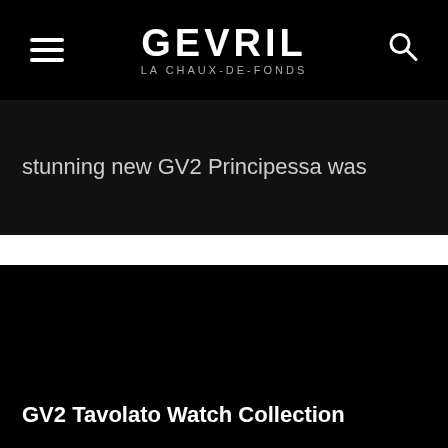GEVRIL LA CHAUX-DE-FONDS
stunning new GV2 Principessa was
[Figure (photo): Dark/black image panel showing GV2 Tavolato Watch Collection with white text overlay at bottom left]
GV2 Tavolato Watch Collection